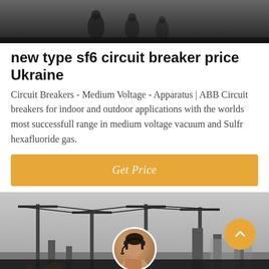[Figure (photo): Top portion of a photo showing people walking in a dark/industrial setting]
new type sf6 circuit breaker price Ukraine
Circuit Breakers - Medium Voltage - Apparatus | ABB Circuit breakers for indoor and outdoor applications with the worlds most successfull range in medium voltage vacuum and Sulfr hexafluoride gas.
[Figure (other): Orange button labeled Get Price]
[Figure (photo): Industrial electrical substation with overhead power lines and equipment, blurred/dark background. Bottom bar with Leave Message and Chat Online and a headset-wearing customer service representative avatar in a circle.]